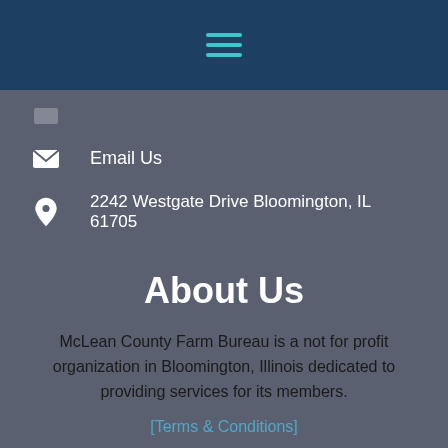[Figure (screenshot): Mobile app top navigation bar with hamburger menu icon (three teal horizontal lines) on dark blue background]
Email Us
2242 Westgate Drive Bloomington, IL 61705
About Us
McLean County Farm Bureau is a not for profit organization in Bloomington, Illinois dedicated to providing services for its members.
[Terms & Conditions]
Leader Login